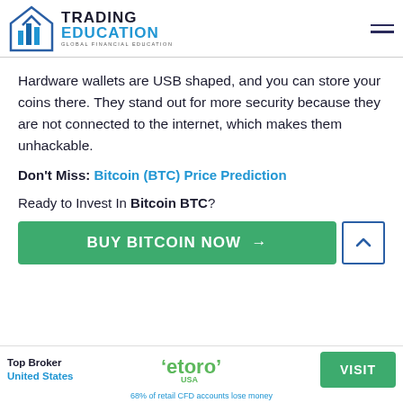TRADING EDUCATION — GLOBAL FINANCIAL EDUCATION
Hardware wallets are USB shaped, and you can store your coins there. They stand out for more security because they are not connected to the internet, which makes them unhackable.
Don't Miss: Bitcoin (BTC) Price Prediction
Ready to Invest In Bitcoin BTC?
[Figure (other): Green CTA button: BUY BITCOIN NOW with arrow, and a back-to-top button]
Top Broker United States — eToro USA — VISIT — 68% of retail CFD accounts lose money